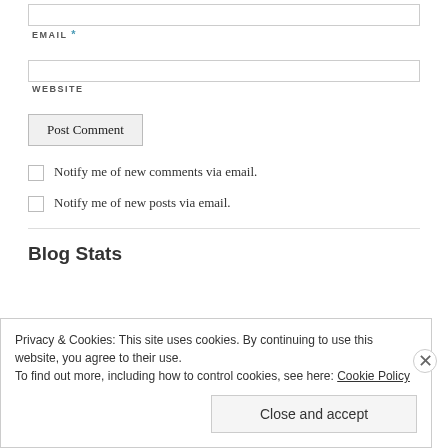EMAIL *
WEBSITE
Post Comment
Notify me of new comments via email.
Notify me of new posts via email.
Blog Stats
Privacy & Cookies: This site uses cookies. By continuing to use this website, you agree to their use.
To find out more, including how to control cookies, see here: Cookie Policy
Close and accept